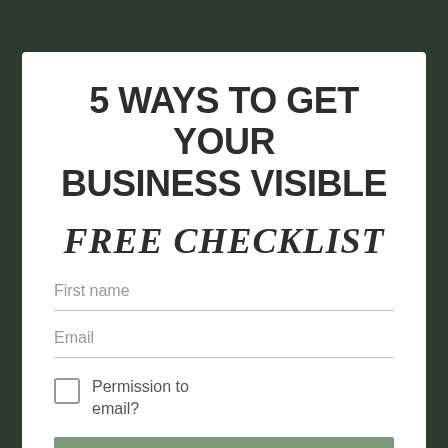5 WAYS TO GET YOUR BUSINESS VISIBLE
FREE CHECKLIST
First name
Email
Permission to email?
YES I NEED THIS!